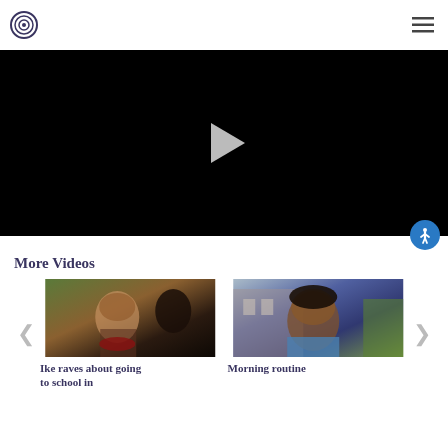[Figure (logo): Circular eye/target logo icon with concentric circles]
[Figure (other): Hamburger menu icon (three horizontal lines)]
[Figure (screenshot): Black video player with white play button triangle in center]
[Figure (other): Blue circular accessibility icon (person with arms outstretched)]
More Videos
[Figure (photo): Video thumbnail showing a young man outdoors, dark tones]
Ike raves about going to school in
[Figure (photo): Video thumbnail showing a young woman outdoors near a building]
Morning routine